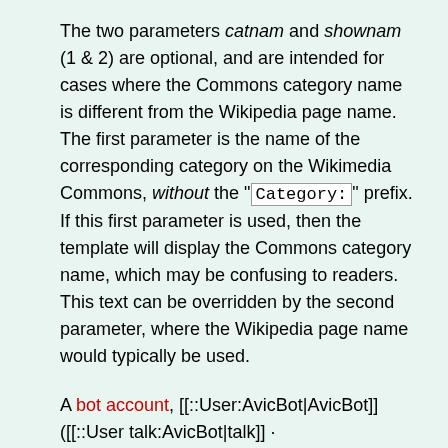The two parameters catnam and shownam (1 & 2) are optional, and are intended for cases where the Commons category name is different from the Wikipedia page name. The first parameter is the name of the corresponding category on the Wikimedia Commons, without the "Category:" prefix. If this first parameter is used, then the template will display the Commons category name, which may be confusing to readers. This text can be overridden by the second parameter, where the Wikipedia page name would typically be used.
A bot account, [[::User:AvicBot|AvicBot]] ([[::User talk:AvicBot|talk]] · [[::Special:Contributions/AvicBot|contribs]]), currently runs a task which automatically fills in the first parameter where it is blank, thus providing some